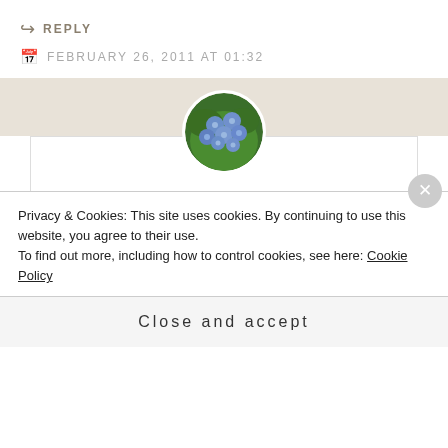↪ REPLY
FEBRUARY 26, 2011 AT 01:32
To the Nth
Thanks for visiting mine! 🙂 It does my nerdy little heart good to hear how many people would be sitting right next to me geeking out in a Star Trek
Privacy & Cookies: This site uses cookies. By continuing to use this website, you agree to their use.
To find out more, including how to control cookies, see here: Cookie Policy
Close and accept